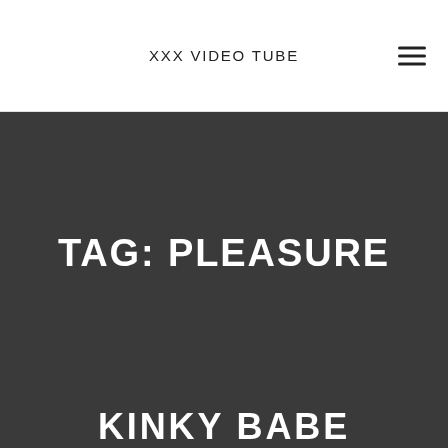XXX VIDEO TUBE
TAG: PLEASURE
KINKY BABE